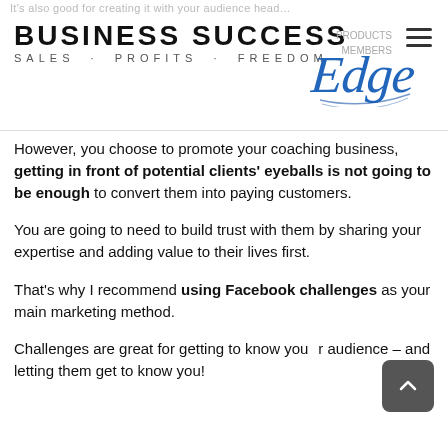Business Success Edge - Sales · Profits · Freedom
However, you choose to promote your coaching business, getting in front of potential clients' eyeballs is not going to be enough to convert them into paying customers.
You are going to need to build trust with them by sharing your expertise and adding value to their lives first.
That's why I recommend using Facebook challenges as your main marketing method.
Challenges are great for getting to know your audience – and letting them get to know you!